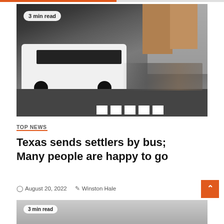[Figure (photo): A large white charter bus on a city street with a crowd of people on the sidewalk, tall buildings in the background including what appears to be the New York Times building, with a crosswalk in the foreground. Badge reads '3 min read'.]
TOP NEWS
Texas sends settlers by bus; Many people are happy to go
August 20, 2022   Winston Hale
[Figure (photo): Partial view of a second article image, cropped at bottom of page, with '3 min read' badge visible.]